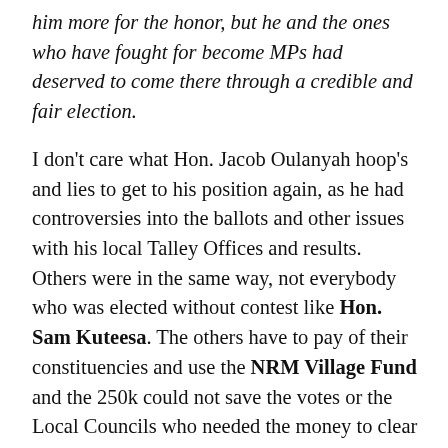him more for the honor, but he and the ones who have fought for become MPs had deserved to come there through a credible and fair election.
I don't care what Hon. Jacob Oulanyah hoop's and lies to get to his position again, as he had controversies into the ballots and other issues with his local Talley Offices and results. Others were in the same way, not everybody who was elected without contest like Hon. Sam Kuteesa. The others have to pay of their constituencies and use the NRM Village Fund and the 250k could not save the votes or the Local Councils who needed the money to clear the local pledges. There certainly too many issues with this election and violence to